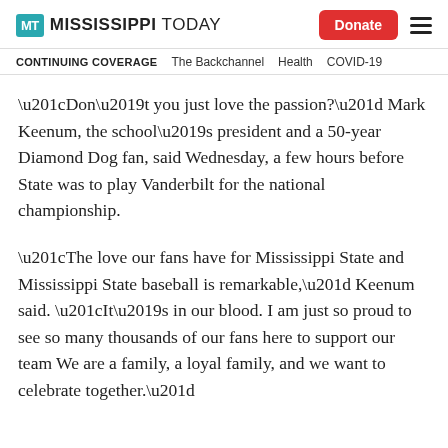Mississippi Today — Donate
CONTINUING COVERAGE  The Backchannel  Health  COVID-19
“Don’t you just love the passion?” Mark Keenum, the school’s president and a 50-year Diamond Dog fan, said Wednesday, a few hours before State was to play Vanderbilt for the national championship.
“The love our fans have for Mississippi State and Mississippi State baseball is remarkable,” Keenum said. “It’s in our blood. I am just so proud to see so many thousands of our fans here to support our team We are a family, a loyal family, and we want to celebrate together.”